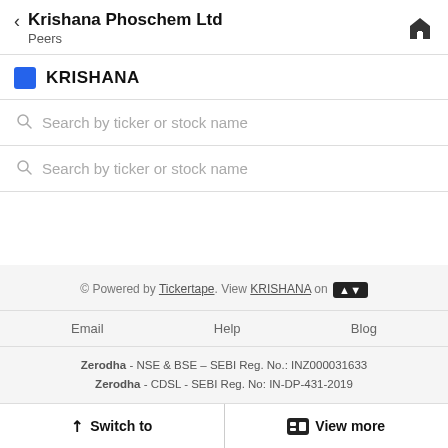Krishana Phoschem Ltd — Peers
KRISHANA
Search by ticker or stock name
Search by ticker or stock name
© Powered by Tickertape. View KRISHANA on
Email   Help   Blog
Zerodha - NSE & BSE – SEBI Reg. No.: INZ000031633
Zerodha - CDSL - SEBI Reg. No: IN-DP-431-2019
Switch to   View more